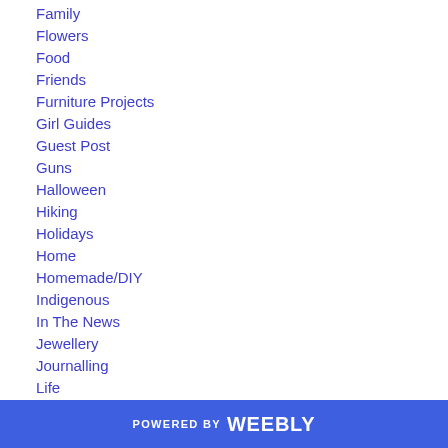Family
Flowers
Food
Friends
Furniture Projects
Girl Guides
Guest Post
Guns
Halloween
Hiking
Holidays
Home
Homemade/DIY
Indigenous
In The News
Jewellery
Journalling
Life
Moments
Music
POWERED BY weebly